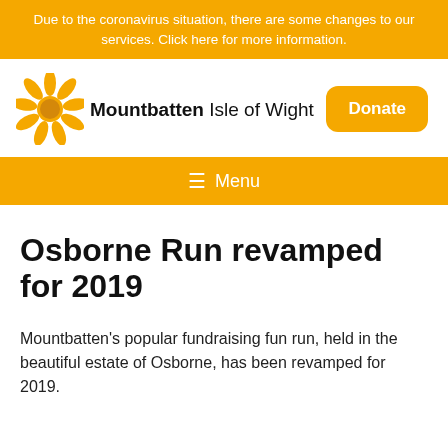Due to the coronavirus situation, there are some changes to our services. Click here for more information.
[Figure (logo): Mountbatten Isle of Wight sunflower logo with Donate button]
Menu
Osborne Run revamped for 2019
Mountbatten's popular fundraising fun run, held in the beautiful estate of Osborne, has been revamped for 2019.